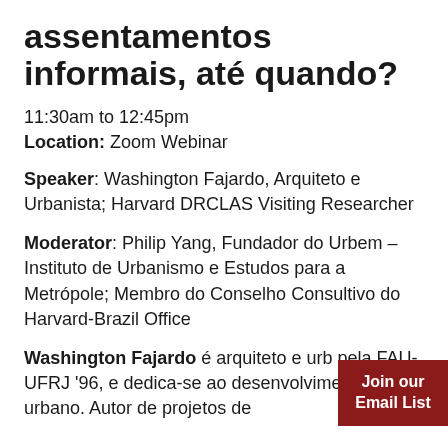assentamentos informais, até quando?
11:30am to 12:45pm
Location: Zoom Webinar
Speaker: Washington Fajardo, Arquiteto e Urbanista; Harvard DRCLAS Visiting Researcher
Moderator: Philip Yang, Fundador do Urbem – Instituto de Urbanismo e Estudos para a Metrópole; Membro do Conselho Consultivo do Harvard-Brazil Office
Washington Fajardo é arquiteto e urb pela FAU-UFRJ '96, e dedica-se ao desenvolvimento urbano. Autor de projetos de
Join our Email List